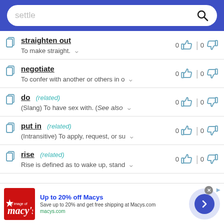[Figure (screenshot): Search bar with placeholder text 'settle' and search icon, on blue background]
straighten out — To make straight. — 0 upvotes, 0 downvotes
negotiate — To confer with another or others in c… — 0 upvotes, 0 downvotes
do (related) — (Slang) To have sex with. (See also… — 0 upvotes, 0 downvotes
put in (related) — (Intransitive) To apply, request, or su… — 0 upvotes, 0 downvotes
rise (related) — Rise is defined as to wake up, stand… — 0 upvotes, 0 downvotes
[Figure (screenshot): Advertisement banner: Macy's logo, 'Up to 20% off Macys', 'Save up to 20% and get free shipping at Macys.com', macys.com, with navigation arrow]